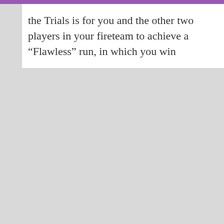the Trials is for you and the other two players in your fireteam to achieve a “Flawless” run, in which you win